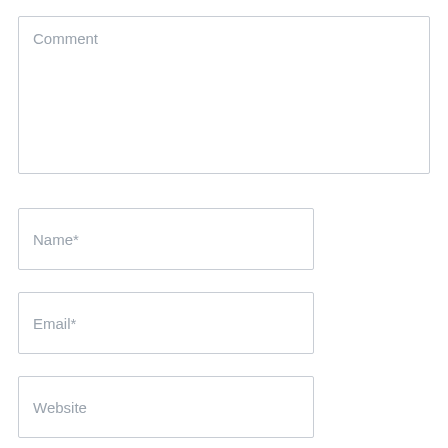Comment
Name*
Email*
Website
POST COMMENT